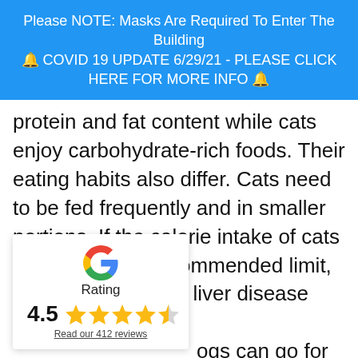Please NOTE: Masks Are Required To Enter The Building
🔔 COVID 19 UPDATE 6/29/21 - PLEASE CLICK HERE FOR MORE INFO 🔔
protein and fat content while cats enjoy carbohydrate-rich foods. Their eating habits also differ. Cats need to be fed frequently and in smaller portions. If the calorie intake of cats falls below the recommended limit, they can develop a liver disease called ... ogs can go for etween meals and n a low-calorie diet s.
[Figure (infographic): Google rating card showing 4.5 stars out of 5, with Google 'G' logo, the word 'Rating', a score of 4.5, five stars (four filled, one half), and a link 'Read our 412 reviews']